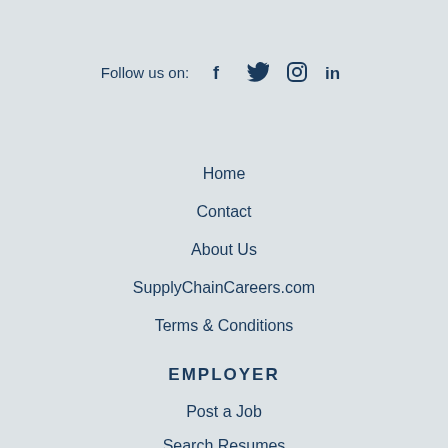Follow us on:  f  [twitter]  [instagram]  in
Home
Contact
About Us
SupplyChainCareers.com
Terms & Conditions
EMPLOYER
Post a Job
Search Resumes